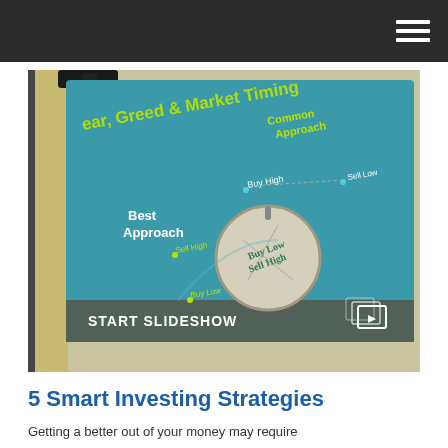[Figure (photo): A photograph of a clipboard holding a teal/blue infographic slide titled 'Fear, Greed & Market Timing' showing 'Common Approach' with Buy High and Sell Low labels, and 'Best Approach' with Sell High and Buy Low labels, with a pocket watch image showing 'Buy Low Sell High'. The bottom bar reads 'START SLIDESHOW' with a slideshow icon on the right.]
5 Smart Investing Strategies
Getting a better out of your money may require